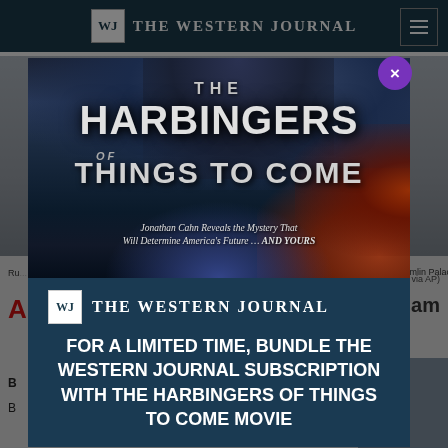THE WESTERN JOURNAL
[Figure (screenshot): Modal popup advertisement overlay on The Western Journal website. The modal shows a promotional image for 'The Harbingers of Things to Come' movie with dramatic dark smoke and fire imagery. Below the movie poster image is The Western Journal logo and promotional text reading: FOR A LIMITED TIME, BUNDLE THE WESTERN JOURNAL SUBSCRIPTION WITH THE HARBINGERS OF THINGS TO COME MOVIE. A purple close (X) button appears at the top-right of the modal. The background shows partially visible website content including a news headline and article.]